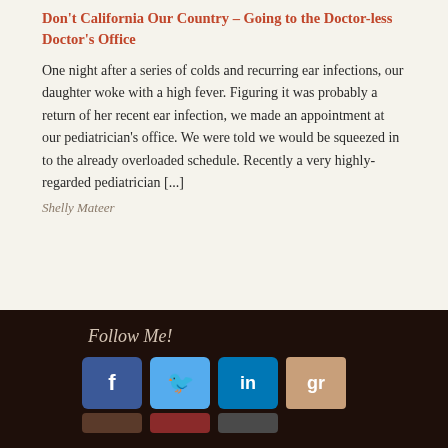Don't California Our Country – Going to the Doctor-less Doctor's Office
One night after a series of colds and recurring ear infections, our daughter woke with a high fever. Figuring it was probably a return of her recent ear infection, we made an appointment at our pediatrician's office. We were told we would be squeezed in to the already overloaded schedule. Recently a very highly-regarded pediatrician [...]
Shelly Mateer
Brainhackers
Follow Me!